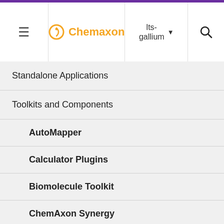[Figure (screenshot): Chemaxon documentation website screenshot showing navigation menu with Standalone Applications and Toolkits and Components expanded, listing AutoMapper, Calculator Plugins, Biomolecule Toolkit, ChemAxon Synergy, Document to Structure, JChem Base, JChem Choral]
Chemaxon | lts-gallium
Standalone Applications
Toolkits and Components
AutoMapper
Calculator Plugins
Biomolecule Toolkit
ChemAxon Synergy
Document to Structure
JChem Base
JChem Choral